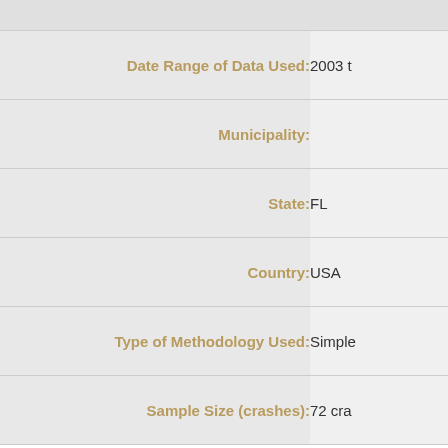| Field | Value |
| --- | --- |
| Date Range of Data Used: | 2003 t... |
| Municipality: |  |
| State: | FL |
| Country: | USA |
| Type of Methodology Used: | Simple... |
| Sample Size (crashes): | 72 cra... |
| Field | Value |
| --- | --- |
| Included in Highway Safety Manual? | No |
| Date Added to Clearinghouse: | Aug-0... |